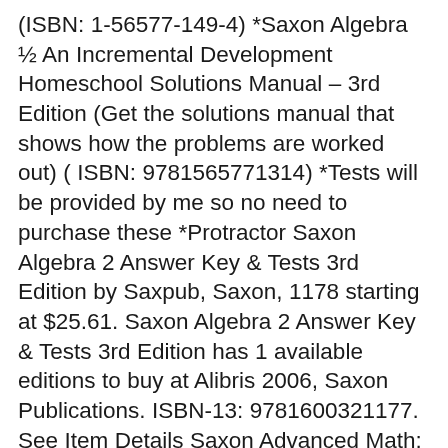(ISBN: 1-56577-149-4) *Saxon Algebra ½ An Incremental Development Homeschool Solutions Manual – 3rd Edition (Get the solutions manual that shows how the problems are worked out) ( ISBN: 9781565771314) *Tests will be provided by me so no need to purchase these *Protractor Saxon Algebra 2 Answer Key & Tests 3rd Edition by Saxpub, Saxon, 1178 starting at $25.61. Saxon Algebra 2 Answer Key & Tests 3rd Edition has 1 available editions to buy at Alibris 2006, Saxon Publications. ISBN-13: 9781600321177. See Item Details Saxon Advanced Math: Homeschool Kit W/Solutions Manual Grades 9-12. by Saxpub. Starting at